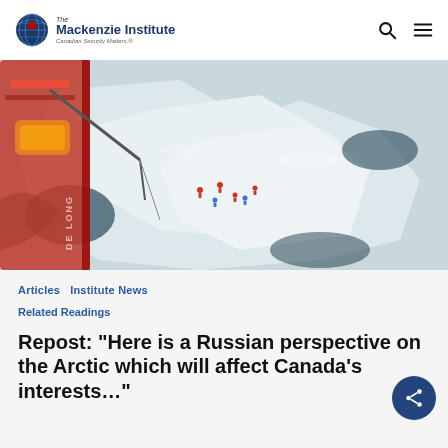[Figure (logo): The Mackenzie Institute logo — globe icon with Canadian maple leaf, text 'The Mackenzie Institute, Canadian Security Matters.']
[Figure (photo): Aerial view from a ship deck looking down at Arctic sea ice with people on the ice floe and red/orange ship equipment visible.]
Articles  Institute News
Related Readings
Repost: “Here is a Russian perspective on the Arctic which will affect Canada’s interests…”